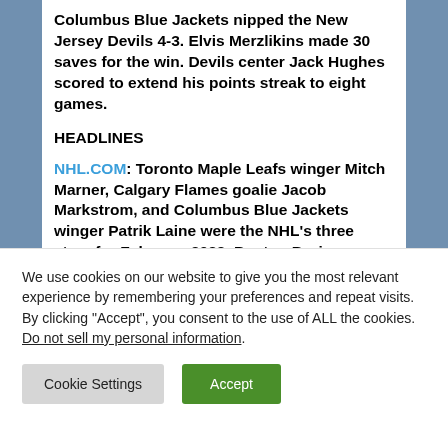Columbus Blue Jackets nipped the New Jersey Devils 4-3. Elvis Merzlikins made 30 saves for the win. Devils center Jack Hughes scored to extend his points streak to eight games.
HEADLINES
NHL.COM: Toronto Maple Leafs winger Mitch Marner, Calgary Flames goalie Jacob Markstrom, and Columbus Blue Jackets winger Patrik Laine were the NHL's three stars for February 2022. Boston Bruins goaltender
We use cookies on our website to give you the most relevant experience by remembering your preferences and repeat visits. By clicking "Accept", you consent to the use of ALL the cookies.
Do not sell my personal information.